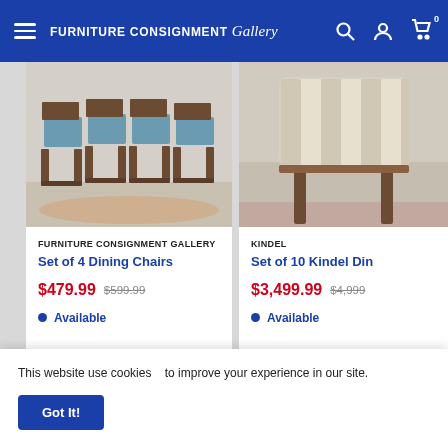Furniture Consignment Gallery
[Figure (photo): Set of 4 dining chairs with blue upholstered seats and dark wood frames, displayed in a showroom]
FURNITURE CONSIGNMENT GALLERY
Set of 4 Dining Chairs
$479.99  $599.99
Available
[Figure (photo): Partial view of a dining chair with striped cream/white upholstery and dark wood frame]
KINDEL
Set of 10 Kindel Din...
$3,499.99  $4,999...
Available
This website use cookies   to improve your experience in our site.
Got It!